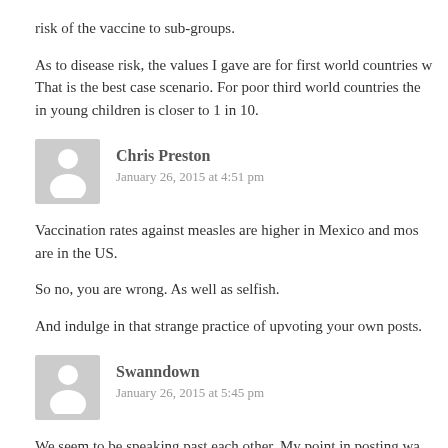risk of the vaccine to sub-groups.
As to disease risk, the values I gave are for first world countries w... That is the best case scenario. For poor third world countries the... in young children is closer to 1 in 10.
Chris Preston
January 26, 2015 at 4:51 pm
Vaccination rates against measles are higher in Mexico and mos... are in the US.
So no, you are wrong. As well as selfish.
And indulge in that strange practice of upvoting your own posts.
Swanndown
January 26, 2015 at 5:45 pm
We seem to be speaking past each other. My point in posting wa... what vaccine-averse parents are thinking, and what makes us he... mind is not made up. You've made an assumption.